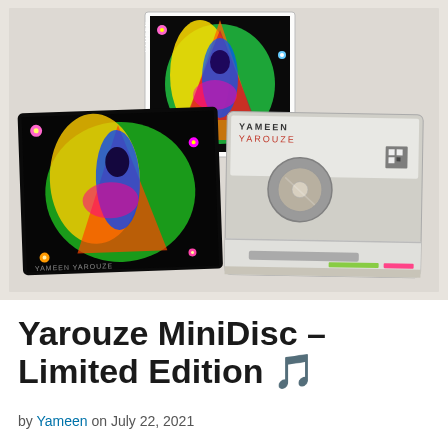[Figure (photo): Photo of Yameen Yarouze MiniDisc limited edition product showing three items: a CD jewel case with psychedelic colorful artwork on a white surface (top center), a colorful minidisc case with psychedelic art (bottom left), and a transparent minidisc with silver hub and white shutter showing 'YAMEEN YAROUZE' label (bottom right), all arranged on a light gray/beige surface.]
Yarouze MiniDisc – Limited Edition 🎵
by Yameen on July 22, 2021